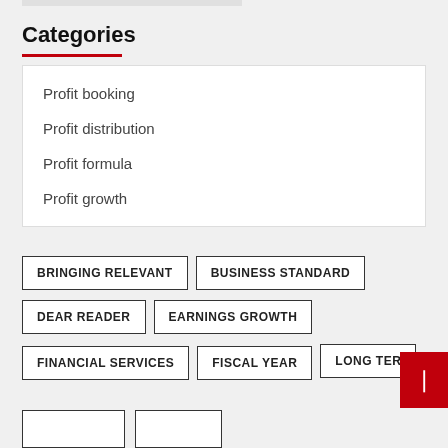Categories
Profit booking
Profit distribution
Profit formula
Profit growth
BRINGING RELEVANT
BUSINESS STANDARD
DEAR READER
EARNINGS GROWTH
FINANCIAL SERVICES
FISCAL YEAR
LONG TER...